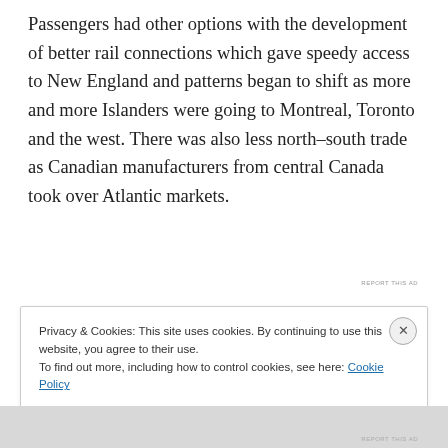Passengers had other options with the development of better rail connections which gave speedy access to New England and patterns began to shift as more and more Islanders were going to Montreal, Toronto and the west. There was also less north-south trade as Canadian manufacturers from central Canada took over Atlantic markets.
[Figure (other): Red advertisement banner]
REPORT THIS AD
Privacy & Cookies: This site uses cookies. By continuing to use this website, you agree to their use.
To find out more, including how to control cookies, see here: Cookie Policy
Close and accept